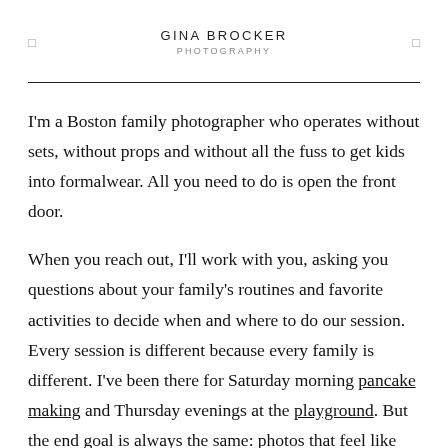GINA BROCKER PHOTOGRAPHY
I'm a Boston family photographer who operates without sets, without props and without all the fuss to get kids into formalwear. All you need to do is open the front door.
When you reach out, I'll work with you, asking you questions about your family's routines and favorite activities to decide when and where to do our session. Every session is different because every family is different. I've been there for Saturday morning pancake making and Thursday evenings at the playground. But the end goal is always the same: photos that feel like you and forever